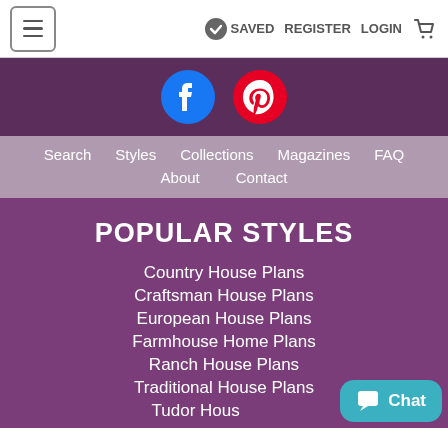≡  SAVED  REGISTER  LOGIN  🛒
[Figure (illustration): Facebook and Pinterest social media icons on dark purple background]
Search  Styles  Collections  Magazines  FAQ  About  Contact
POPULAR STYLES
Country House Plans
Craftsman House Plans
European House Plans
Farmhouse Home Plans
Ranch House Plans
Traditional House Plans
Tudor Hous...
[Figure (illustration): Chat button widget in teal/cyan color]